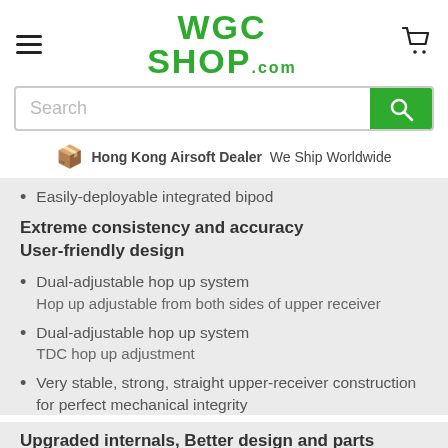[Figure (logo): WGC Shop.com logo in green bold text]
Search
Hong Kong Airsoft Dealer   We Ship Worldwide
Easily-deployable integrated bipod
Extreme consistency and accuracy
User-friendly design
Dual-adjustable hop up system
Hop up adjustable from both sides of upper receiver
Dual-adjustable hop up system
TDC hop up adjustment
Very stable, strong, straight upper-receiver construction for perfect mechanical integrity
Upgraded internals, Better design and parts